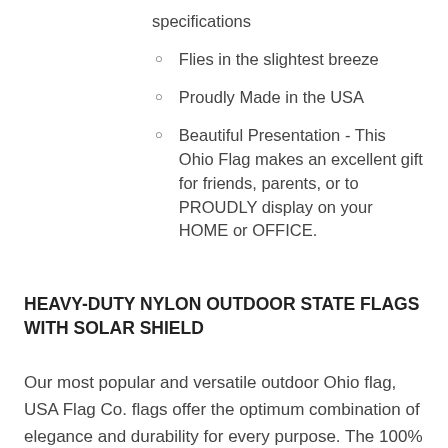specifications
Flies in the slightest breeze
Proudly Made in the USA
Beautiful Presentation - This Ohio Flag makes an excellent gift for friends, parents, or to PROUDLY display on your HOME or OFFICE.
HEAVY-DUTY NYLON OUTDOOR STATE FLAGS WITH SOLAR SHIELD
Our most popular and versatile outdoor Ohio flag, USA Flag Co. flags offer the optimum combination of elegance and durability for every purpose. The 100% nylon material provides a rich, lustrous